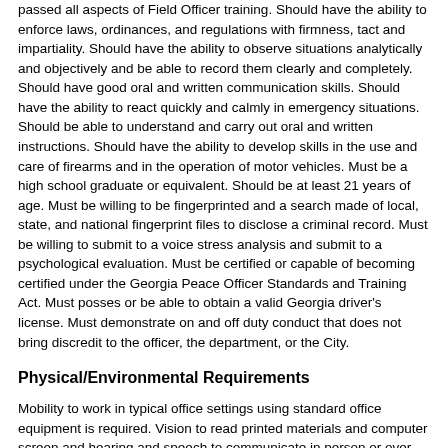passed all aspects of Field Officer training. Should have the ability to enforce laws, ordinances, and regulations with firmness, tact and impartiality. Should have the ability to observe situations analytically and objectively and be able to record them clearly and completely. Should have good oral and written communication skills. Should have the ability to react quickly and calmly in emergency situations. Should be able to understand and carry out oral and written instructions. Should have the ability to develop skills in the use and care of firearms and in the operation of motor vehicles. Must be a high school graduate or equivalent. Should be at least 21 years of age. Must be willing to be fingerprinted and a search made of local, state, and national fingerprint files to disclose a criminal record. Must be willing to submit to a voice stress analysis and submit to a psychological evaluation. Must be certified or capable of becoming certified under the Georgia Peace Officer Standards and Training Act. Must posses or be able to obtain a valid Georgia driver's license. Must demonstrate on and off duty conduct that does not bring discredit to the officer, the department, or the City.
Physical/Environmental Requirements
Mobility to work in typical office settings using standard office equipment is required. Vision to read printed materials and computer screen and hearing and speech to communicate in person or over the telephone. The work environment is in the field where the candidate will be exposed to extreme weather conditions and will be on occasion required to perform manual tasks.
Location